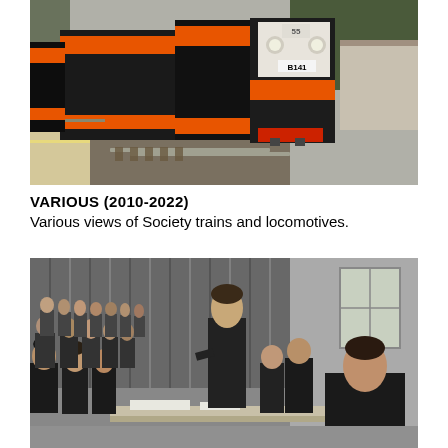[Figure (photo): Colour photograph of diesel locomotives at a station platform. The front locomotive is marked 'B141' with orange and black livery. The train is seen from the front slightly to the side, with a station platform on the left and railway tracks visible.]
VARIOUS (2010-2022)
Various views of Society trains and locomotives.
[Figure (photo): Black and white photograph of a formal meeting or society gathering. A tall man in a dark suit stands at a lectern or table addressing an audience of men seated in rows. Another man is seated at the table to the right. The setting appears to be an indoor hall with curtains in the background.]